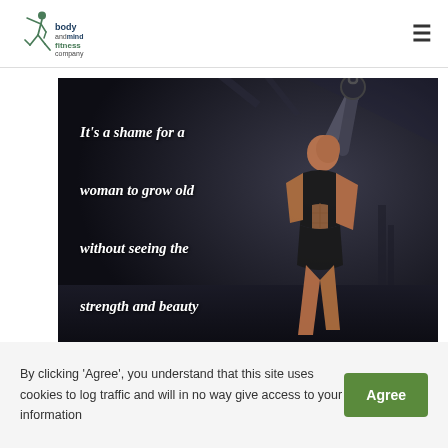body and mind fitness company
[Figure (photo): Fitness photo of a muscular woman lifting a kettlebell overhead in a dark gym, with white italic bold quote text overlaid: "It's a shame for a woman to grow old without seeing the strength and beauty of which her body is capable of."]
By clicking 'Agree', you understand that this site uses cookies to log traffic and will in no way give access to your information